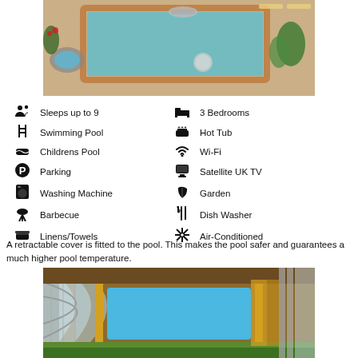[Figure (photo): Outdoor swimming pool with blue water, beige/terracotta surround, small hot tub on left, trees and sun loungers in background]
Sleeps up to 9
Swimming Pool
Childrens Pool
Parking
Washing Machine
Barbecue
Linens/Towels
3 Bedrooms
Hot Tub
Wi-Fi
Satellite UK TV
Garden
Dish Washer
Air-Conditioned
A retractable cover is fitted to the pool. This makes the pool safer and guarantees a much higher pool temperature.
[Figure (photo): Retractable polycarbonate pool cover partially covering a swimming pool with blue water, yellow/gold pool surround, wooden fence in background]